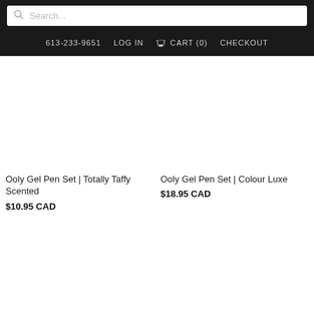Search...
613-233-9651  LOG IN  CART (0)  CHECKOUT
Ooly Gel Pen Set | Totally Taffy Scented
$10.95 CAD
Ooly Gel Pen Set | Colour Luxe
$18.95 CAD